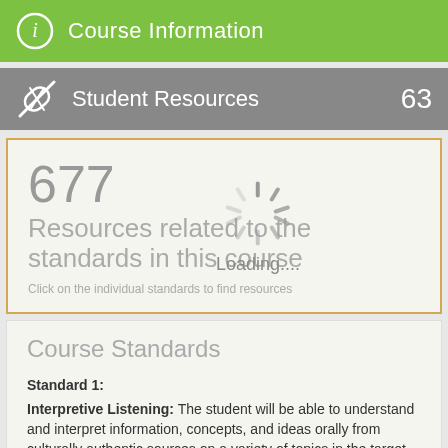Course Information
Student Resources 63
677 Resources related to the standards in this course
Click on the individual standards to find resources
Loading....
Course Standards
Standard 1:
Interpretive Listening: The student will be able to understand and interpret information, concepts, and ideas orally from culturally authentic sources on a variety of topics in the target